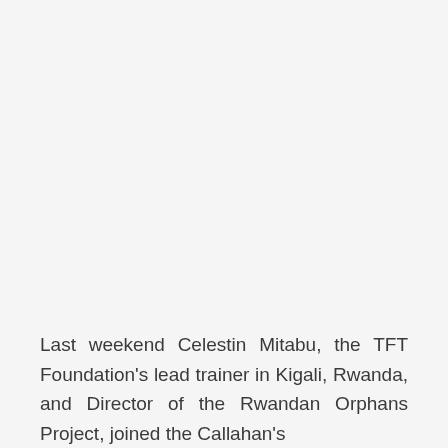Last weekend Celestin Mitabu, the TFT Foundation's lead trainer in Kigali, Rwanda, and Director of the Rwandan Orphans Project, joined the Callahan's